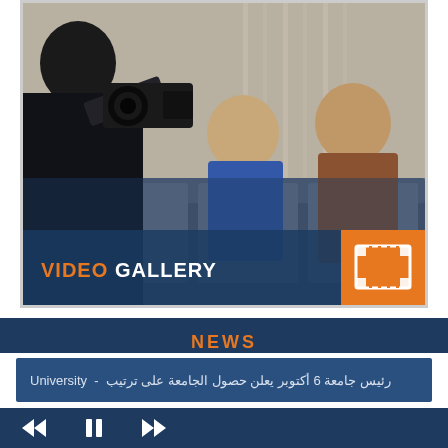[Figure (photo): Video gallery section showing a photographer filming young men sitting on a couch indoors, with a semi-transparent dark blue banner reading VIDEO GALLERY and a film strip icon on the right]
NEWS
رئيس جامعة 6 أكتوبر يعلن حصول الجامعة على ترتيب - University